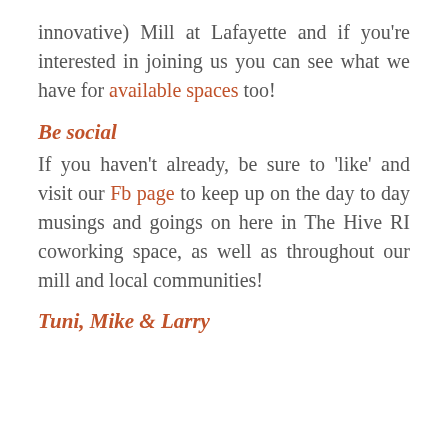innovative) Mill at Lafayette and if you're interested in joining us you can see what we have for available spaces too!
Be social
If you haven't already, be sure to 'like' and visit our Fb page to keep up on the day to day musings and goings on here in The Hive RI coworking space, as well as throughout our mill and local communities!
Tuni, Mike & Larry